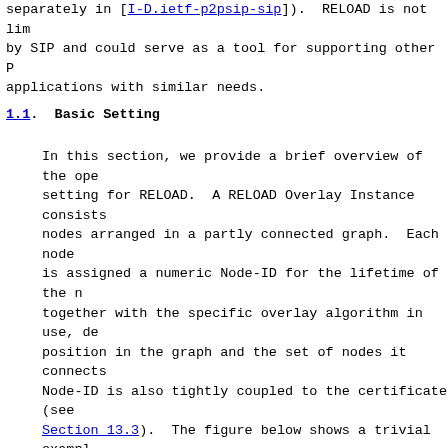separately in [I-D.ietf-p2psip-sip]).  RELOAD is not limited by SIP and could serve as a tool for supporting other P2P applications with similar needs.
1.1.  Basic Setting
In this section, we provide a brief overview of the operational setting for RELOAD.  A RELOAD Overlay Instance consists of nodes arranged in a partly connected graph.  Each node is assigned a numeric Node-ID for the lifetime of the node together with the specific overlay algorithm in use, determines its position in the graph and the set of nodes it connects to.  The Node-ID is also tightly coupled to the certificate (see Section 13.3).  The figure below shows a trivial example, not drawn from any particular overlay algorithm, but was chosen for convenience of representation.